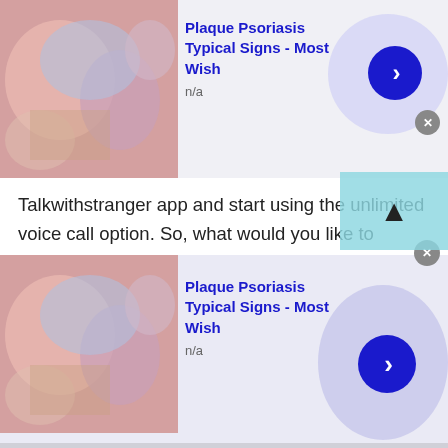[Figure (screenshot): Advertisement banner at top: thumbnail image of skin condition, title 'Plaque Psoriasis Typical Signs - Most Wish', subtitle 'n/a', blue arrow button, close X button]
Talkwithstranger app and start using the unlimited voice call option. So, what would you like to choose making phone calls or the TWS voice calling option? Whatever your choice, make sure to choose the option that you find easy and convenient.
Video cam chat
Nothing is better than having an uninterrupted online video chat. Talking to strangers in Serbia a
[Figure (screenshot): Advertisement banner at bottom: thumbnail image of skin condition, title 'Plaque Psoriasis Typical Signs - Most Wish', subtitle 'n/a', blue arrow button, close X button]